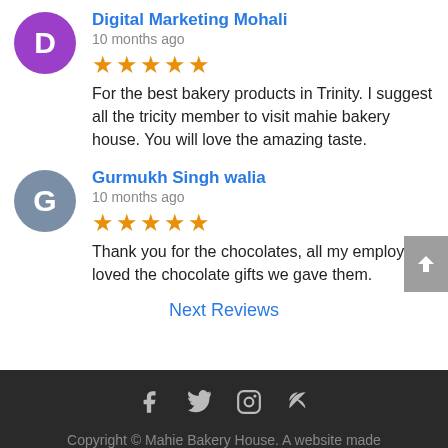Digital Marketing Mohali
10 months ago
★★★★★ For the best bakery products in Trinity. I suggest all the tricity member to visit mahie bakery house. You will love the amazing taste.
Gurmukh Singh walia
10 months ago
★★★★★ Thank you for the chocolates, all my employees loved the chocolate gifts we gave them.
Next Reviews
Copyright © Mahie Bakery House. A website made with Love by Endurance Softwares
Share This ✓